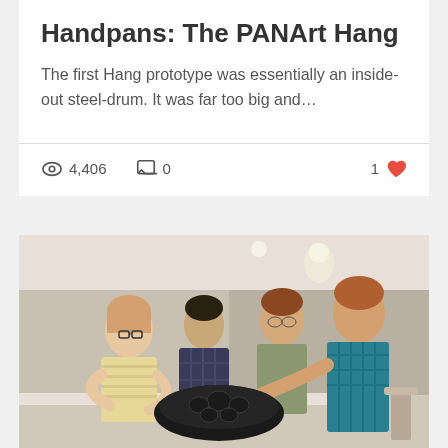Handpans: The PANArt Hang
The first Hang prototype was essentially an inside-out steel-drum. It was far too big and…
4,406 views · 0 comments · 1 like
[Figure (photo): Four people gathered around a handpan instrument. A woman with short blonde hair and glasses holds the dark handpan while a young man in a teal checkered shirt reaches toward it. Two other people stand behind them in what appears to be an art gallery or studio space.]